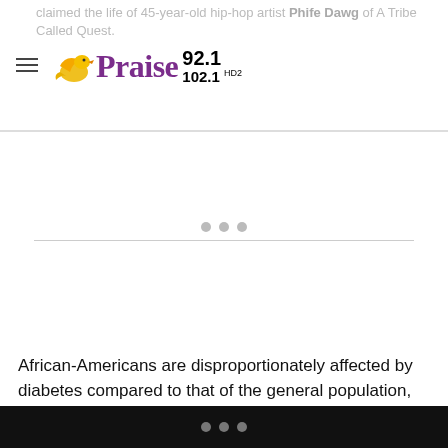claimed the life of 45-year-old hip-hop artist Phife Dawg of A Tribe Called Quest.
[Figure (logo): Praise 92.1 / 102.1 HD2 radio station logo with purple text and yellow bird icon]
[Figure (other): Advertisement placeholder area with three gray dots and horizontal divider line]
African-Americans are disproportionately affected by diabetes compared to that of the general population, and